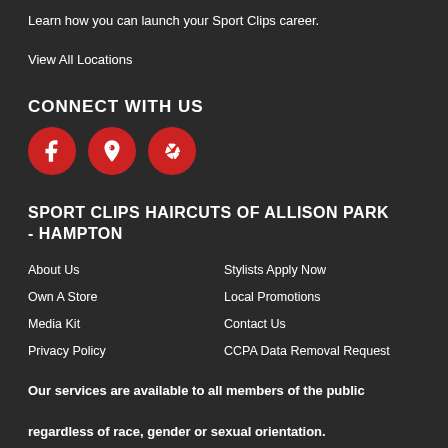Learn how you can launch your Sport Clips career.
View All Locations
CONNECT WITH US
[Figure (other): Three red circular social media icons: Facebook, Google Maps, and Yelp]
SPORT CLIPS HAIRCUTS OF ALLISON PARK - HAMPTON
About Us
Own A Store
Media Kit
Privacy Policy
Stylists Apply Now
Local Promotions
Contact Us
CCPA Data Removal Request
Our services are available to all members of the public regardless of race, gender or sexual orientation.
© Copyright 2020 Sport Clips, Inc. All Rights Reserved